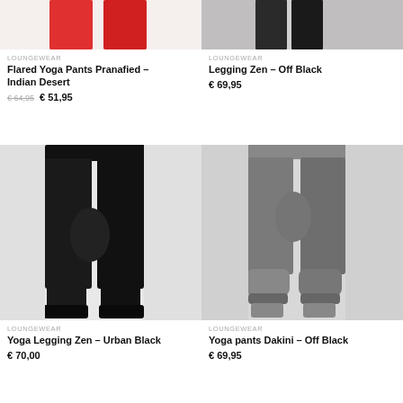[Figure (photo): Cropped photo of red yoga pants (top portion), left column top]
LOUNGEWEAR
Flared Yoga Pants Pranafied – Indian Desert
€ 64,95  € 51,95
[Figure (photo): Cropped photo of black legging (top portion), right column top]
LOUNGEWEAR
Legging Zen – Off Black
€ 69,95
[Figure (photo): Full photo of black yoga legging Zen – Urban Black on model]
LOUNGEWEAR
Yoga Legging Zen – Urban Black
€ 70,00
[Figure (photo): Full photo of grey yoga pants Dakini – Off Black on model]
LOUNGEWEAR
Yoga pants Dakini – Off Black
€ 69,95